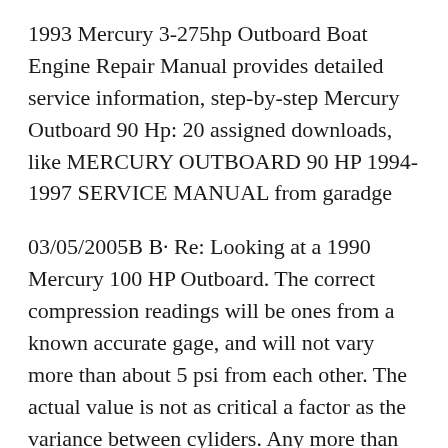1993 Mercury 3-275hp Outboard Boat Engine Repair Manual provides detailed service information, step-by-step Mercury Outboard 90 Hp: 20 assigned downloads, like MERCURY OUTBOARD 90 HP 1994-1997 SERVICE MANUAL from garadge
03/05/2005B B· Re: Looking at a 1990 Mercury 100 HP Outboard. The correct compression readings will be ones from a known accurate gage, and will not vary more than about 5 psi from each other. The actual value is not as critical a factor as the variance between cyliders. Any more than 5psi variance and I wouldn't touch it. And I'm sure you'll hear it from 03/05/2005B B· Re: Looking at a 1990 Mercury 100 HP Outboard. The correct compression